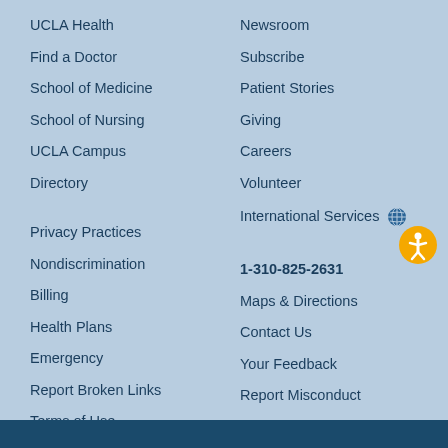UCLA Health
Find a Doctor
School of Medicine
School of Nursing
UCLA Campus
Directory
Newsroom
Subscribe
Patient Stories
Giving
Careers
Volunteer
International Services
Privacy Practices
Nondiscrimination
Billing
Health Plans
Emergency
Report Broken Links
Terms of Use
1-310-825-2631
Maps & Directions
Contact Us
Your Feedback
Report Misconduct
Get Social
Sitemap